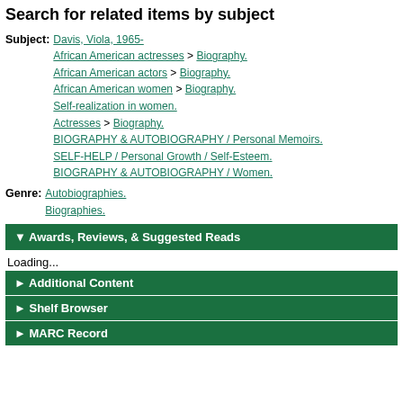Search for related items by subject
Subject: Davis, Viola, 1965-
African American actresses > Biography.
African American actors > Biography.
African American women > Biography.
Self-realization in women.
Actresses > Biography.
BIOGRAPHY & AUTOBIOGRAPHY / Personal Memoirs.
SELF-HELP / Personal Growth / Self-Esteem.
BIOGRAPHY & AUTOBIOGRAPHY / Women.
Genre: Autobiographies.
Biographies.
▼ Awards, Reviews, & Suggested Reads
Loading...
► Additional Content
► Shelf Browser
► MARC Record